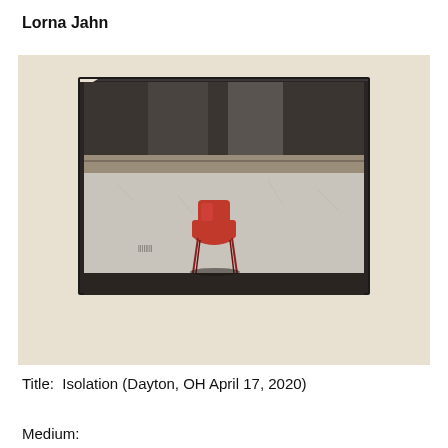Lorna Jahn
[Figure (photo): A framed photograph mounted on a white gallery wall. The photograph shows a single red chair sitting alone against a weathered, cracked white/grey wall inside what appears to be an abandoned or dilapidated building. The upper portion of the image within the frame shows darker tones with columns or pillars visible. The frame itself is dark/black.]
Title:  Isolation (Dayton, OH April 17, 2020)
Medium: